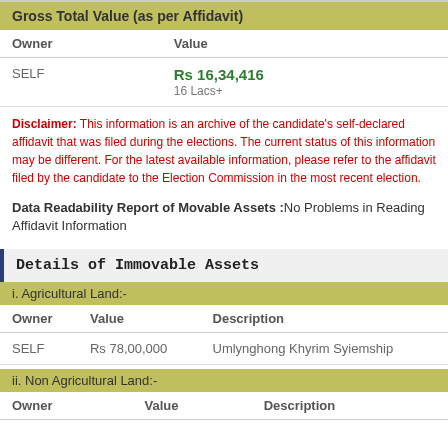Gross Total Value (as per Affidavit)
| Owner | Value |
| --- | --- |
| SELF | Rs 16,34,416
16 Lacs+ |
Disclaimer: This information is an archive of the candidate's self-declared affidavit that was filed during the elections. The current status of this information may be different. For the latest available information, please refer to the affidavit filed by the candidate to the Election Commission in the most recent election.
Data Readability Report of Movable Assets :No Problems in Reading Affidavit Information
Details of Immovable Assets
i. Agricultural Land:-
| Owner | Value | Description |
| --- | --- | --- |
| SELF | Rs 78,00,000 | Umlynghong Khyrim Syiemship |
ii. Non Agricultural Land:-
| Owner | Value | Description |
| --- | --- | --- |